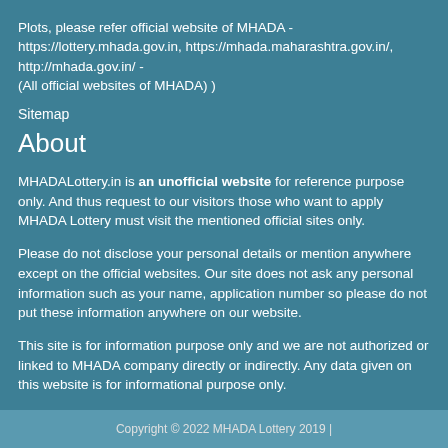Plots, please refer official website of MHADA - https://lottery.mhada.gov.in, https://mhada.maharashtra.gov.in/, http://mhada.gov.in/ - (All official websites of MHADA) )
Sitemap
About
MHADALottery.in is an unofficial website for reference purpose only. And thus request to our visitors those who want to apply MHADA Lottery must visit the mentioned official sites only.
Please do not disclose your personal details or mention anywhere except on the official websites. Our site does not ask any personal information such as your name, application number so please do not put these information anywhere on our website.
This site is for information purpose only and we are not authorized or linked to MHADA company directly or indirectly. Any data given on this website is for informational purpose only.
Copyright © 2022 MHADA Lottery 2019 |